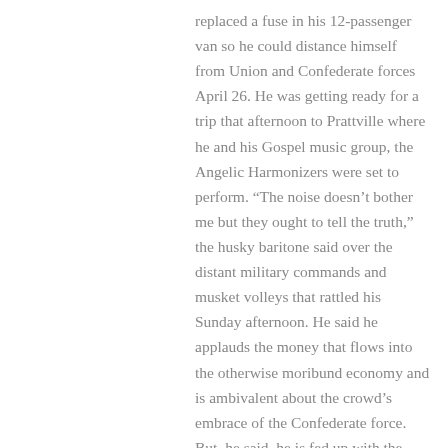replaced a fuse in his 12-passenger van so he could distance himself from Union and Confederate forces April 26. He was getting ready for a trip that afternoon to Prattville where he and his Gospel music group, the Angelic Harmonizers were set to perform. “The noise doesn’t bother me but they ought to tell the truth,” the husky baritone said over the distant military commands and musket volleys that rattled his Sunday afternoon. He said he applauds the money that flows into the otherwise moribund economy and is ambivalent about the crowd’s embrace of the Confederate force. But, he said, he is fed up with the South painting itself as valiant underdogs in what he viewed as a battle to end slavery. “Instead of telling the truth, they still telling a bunch of lies,” he said of how the re-enactors stage the battle as a noble